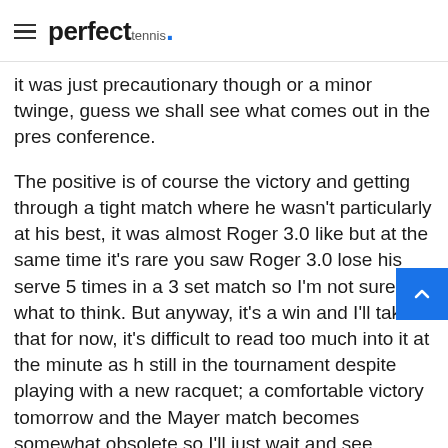perfect tennis.
it was just precautionary though or a minor twinge, guess we shall see what comes out in the pres conference.
The positive is of course the victory and getting through a tight match where he wasn't particularly at his best, it was almost Roger 3.0 like but at the same time it's rare you saw Roger 3.0 lose his serve 5 times in a 3 set match so I'm not sure what to think. But anyway, it's a win and I'll take that for now, it's difficult to read too much into it at the minute as h still in the tournament despite playing with a new racquet; a comfortable victory tomorrow and the Mayer match becomes somewhat obsolete so I'll just wait and see.